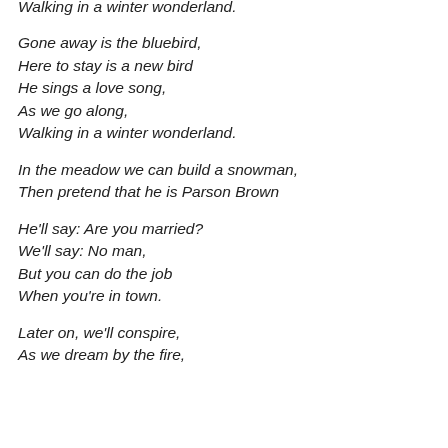Walking in a winter wonderland.
Gone away is the bluebird,
Here to stay is a new bird
He sings a love song,
As we go along,
Walking in a winter wonderland.
In the meadow we can build a snowman,
Then pretend that he is Parson Brown
He'll say: Are you married?
We'll say: No man,
But you can do the job
When you're in town.
Later on, we'll conspire,
As we dream by the fire,